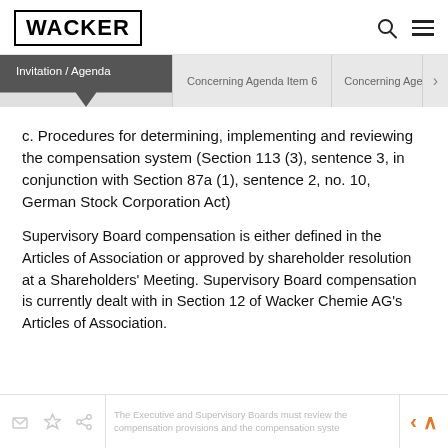WACKER
c. Procedures for determining, implementing and reviewing the compensation system (Section 113 (3), sentence 3, in conjunction with Section 87a (1), sentence 2, no. 10, German Stock Corporation Act)
Supervisory Board compensation is either defined in the Articles of Association or approved by shareholder resolution at a Shareholders' Meeting. Supervisory Board compensation is currently dealt with in Section 12 of Wacker Chemie AG's Articles of Association.
The Executive and Supervisory Boards must review the compensation provisions and the compensation system